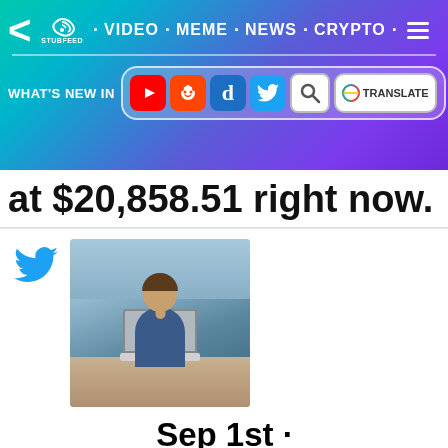StubFeed · VIDEO · MEME · NEWS · CRYPTO
WHAT'S NEW IN [social icons: YouTube, Reddit, Digg, Twitter, Search, Google Translate]
at $20,858.51 right now.
[Figure (screenshot): Twitter card showing a photo of a person sitting at a laptop, with text 'Sep 1st · @Bitcoin68753720 o']